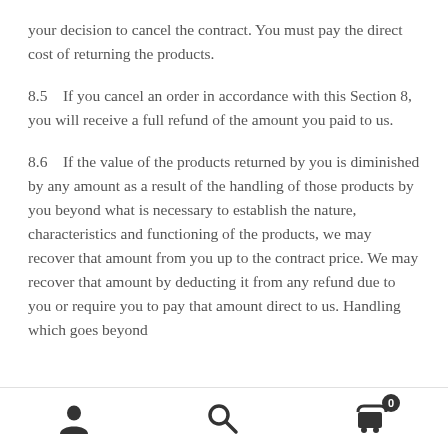your decision to cancel the contract. You must pay the direct cost of returning the products.
8.5    If you cancel an order in accordance with this Section 8, you will receive a full refund of the amount you paid to us.
8.6    If the value of the products returned by you is diminished by any amount as a result of the handling of those products by you beyond what is necessary to establish the nature, characteristics and functioning of the products, we may recover that amount from you up to the contract price. We may recover that amount by deducting it from any refund due to you or require you to pay that amount direct to us. Handling which goes beyond
[navigation icons: user, search, cart (0)]